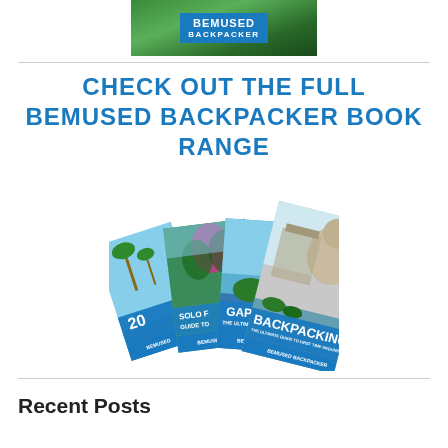[Figure (logo): Bemused Backpacker logo with blue text on green nature background]
CHECK OUT THE FULL BEMUSED BACKPACKER BOOK RANGE
[Figure (photo): Fan arrangement of Bemused Backpacker book covers including Backpacking, Gap, Solo Female, and a numbered guide]
Recent Posts